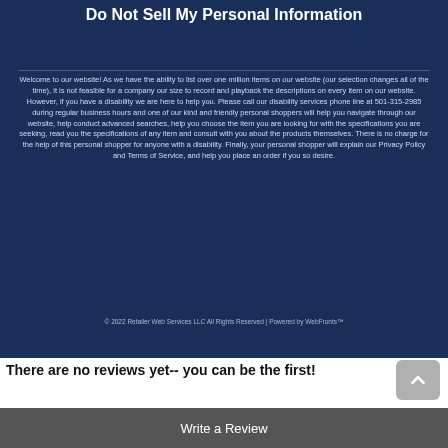Do Not Sell My Personal Information
Welcome to our website! As we have the ability to list over one million items on our website (our selection changes all of the time), it is not feasible for a company our size to record and playback the descriptions on every item on our website. However, if you have a disability we are here to help you. Please call our disability services phone line at 501-315-2985 during regular business hours and one of our kind and friendly personal shoppers will help you navigate through our website, help conduct advanced searches, help you choose the item you are looking for with the specifications you are seeking, read you the specifications of any item and consult with you about the products themselves. There is no charge for the help of this personal shopper for anyone with a disability. Finally, your personal shopper will explain our Privacy Policy and Terms of Service, and help you place an order if you so desire.
© 2022 Retailer Web Services LLC All Rights Reserved | Powered by WebFronts™
There are no reviews yet-- you can be the first!
Write a Review